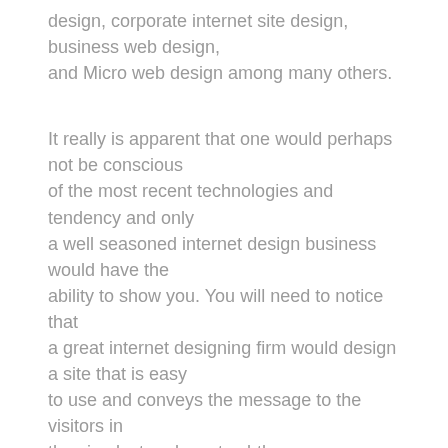design, corporate internet site design, business web design, and Micro web design among many others.
It really is apparent that one would perhaps not be conscious of the most recent technologies and tendency and only a well seasoned internet design business would have the ability to show you. You will need to notice that a great internet designing firm would design a site that is easy to use and conveys the message to the visitors in the simplest and most subtle manner.
The look of the site is performed in line with the algorithms of the important search engine portals that will assist in giving a much better position on the search engine portals like Google, Yahoo and so forth. Mistakes are made by most web designers by making use of